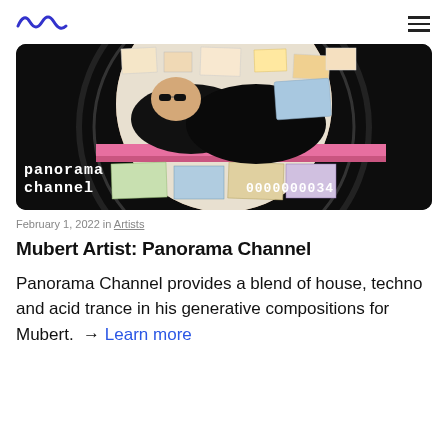Mubert logo and navigation
[Figure (photo): A person in black clothing lying on a pink surface surrounded by papers and currency, inside a circular vinyl record frame. Text overlay reads 'panorama channel' and '0000000034'.]
February 1, 2022 in Artists
Mubert Artist: Panorama Channel
Panorama Channel provides a blend of house, techno and acid trance in his generative compositions for Mubert. → Learn more